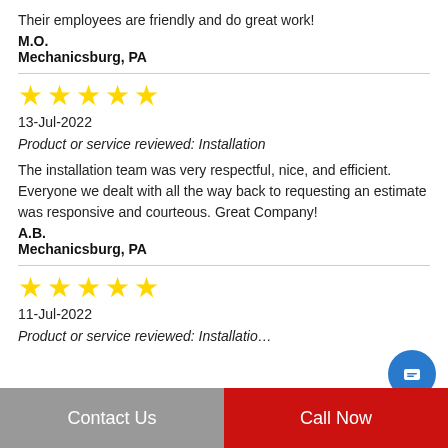Their employees are friendly and do great work!
M.O.
Mechanicsburg, PA
[Figure (other): 5 yellow stars rating]
13-Jul-2022
Product or service reviewed: Installation
The installation team was very respectful, nice, and efficient. Everyone we dealt with all the way back to requesting an estimate was responsive and courteous. Great Company!
A.B.
Mechanicsburg, PA
[Figure (other): 5 yellow stars rating]
11-Jul-2022
Product or service reviewed: Installation (partially visible)